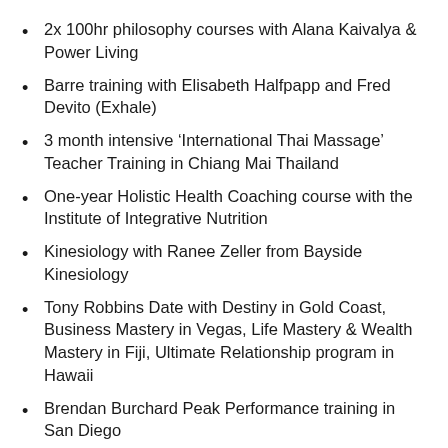2x 100hr philosophy courses with Alana Kaivalya & Power Living
Barre training with Elisabeth Halfpapp and Fred Devito (Exhale)
3 month intensive ‘International Thai Massage’ Teacher Training in Chiang Mai Thailand
One-year Holistic Health Coaching course with the Institute of Integrative Nutrition
Kinesiology with Ranee Zeller from Bayside Kinesiology
Tony Robbins Date with Destiny in Gold Coast, Business Mastery in Vegas, Life Mastery & Wealth Mastery in Fiji, Ultimate Relationship program in Hawaii
Brendan Burchard Peak Performance training in San Diego
Rod Stryker Vinyasa Krama & Kosha, Kriya, Yoga